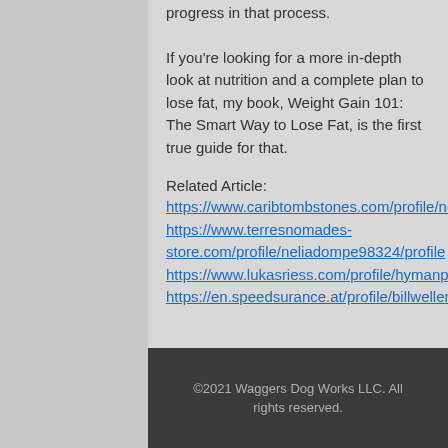progress in that process.
If you're looking for a more in-depth look at nutrition and a complete plan to lose fat, my book, Weight Gain 101: The Smart Way to Lose Fat, is the first true guide for that.
Related Article:
https://www.caribtombstones.com/profile/normancasados128003/profile https://www.terresnomades-store.com/profile/neliadompe98324/profile https://www.lukasriess.com/profile/hymanpeddicord1910/profile https://en.speedsurance.at/profile/billwellen143381/profile
©2021 Waggers Dog Works LLC. All rights reserved.